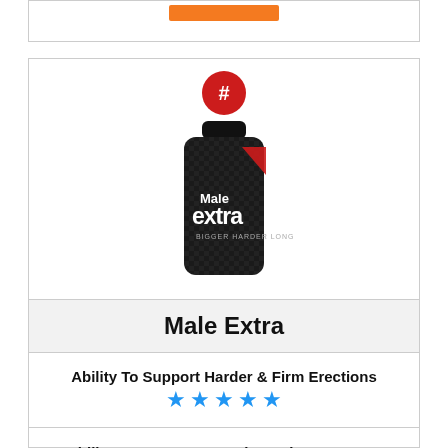[Figure (photo): Orange button/banner at top of card]
[Figure (photo): Male Extra supplement bottle — black cylindrical bottle with red chevron logo and 'Male extra' branding]
Male Extra
Ability To Support Harder & Firm Erections ★★★★★
Ability To Support Sexual Stamina & Energy ★★★★★